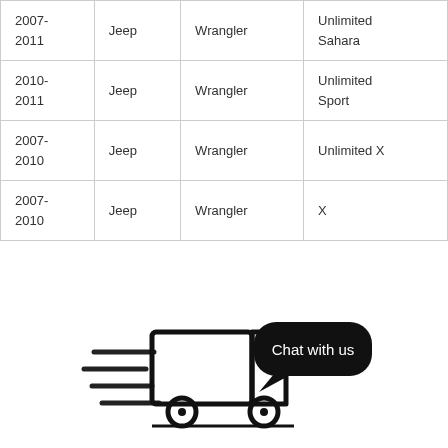| 2007-
2011 | Jeep | Wrangler | Unlimited
Sahara |
| 2010-
2011 | Jeep | Wrangler | Unlimited
Sport |
| 2007-
2010 | Jeep | Wrangler | Unlimited X |
| 2007-
2010 | Jeep | Wrangler | X |
[Figure (illustration): Delivery truck icon with speed lines on the left side, and a black rounded rectangle speech bubble on the right with white text 'Chat with us']